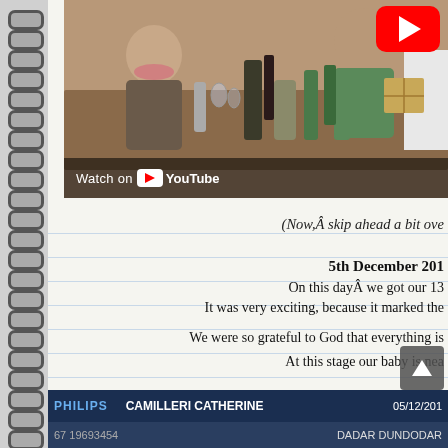[Figure (photo): Screenshot of a YouTube video thumbnail showing elderly woman and young man laughing at a table with food and drinks, with a YouTube play button in the top right corner and 'Watch on YouTube' text overlay at the bottom.]
(Now,Â skip ahead a bit ove
5th December 201
On this dayÂ we got our 13
It was very exciting, because it marked the
We were so grateful to God that everything is
At this stage our baby is nea
|  | Name | Date |
| --- | --- | --- |
| PHILIPS | CAMILLERI CATHERINE | 05/12/201 |
|  | DADAR DUNDODAR |  |